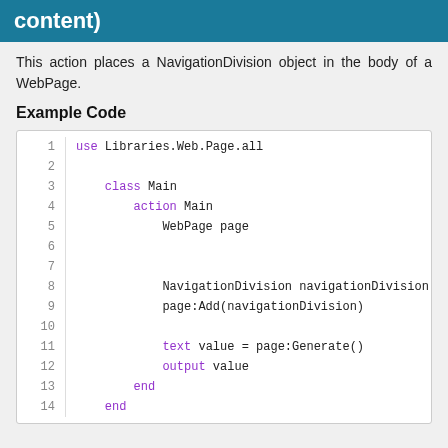content)
This action places a NavigationDivision object in the body of a WebPage.
Example Code
[Figure (screenshot): Code block showing 14 lines of example code using Libraries.Web.Page.all, defining a class Main with action Main, creating a WebPage page and NavigationDivision navigationDivision, adding navigationDivision to page, generating output.]